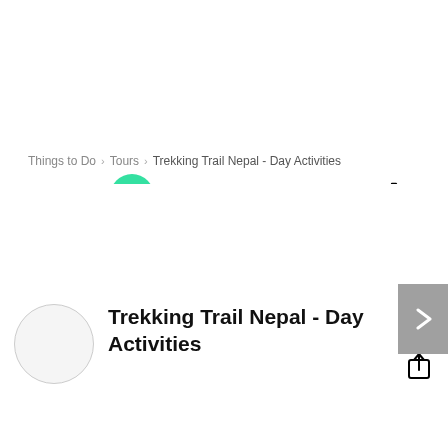[Figure (logo): Tripadvisor logo with owl icon on green circle and hamburger menu, search and cart icons]
Things to Do > Tours > Trekking Trail Nepal - Day Activities
[Figure (photo): Blank white image area with a right-arrow navigation button on the right edge]
Trekking Trail Nepal - Day Activities